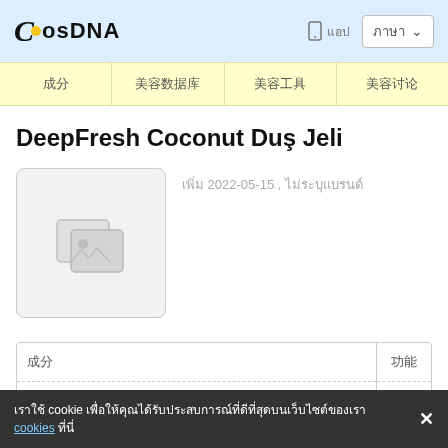CosDNA [mobile icon] [Thai text] [language selector]
[Nav items: Thai text x4]
DeepFresh Coconut Duş Jeli
[Figure (photo): Product image placeholder (grey box with image icon)]
เพิ่ม 2022-05-15 , ไม่ระบุแบรนด์
| 成分 | 功能 |
| --- | --- |
| Aqua |  |
เราใช้ cookie เพื่อให้คุณได้รับประสบการณ์ที่ดีที่สุด cookies ที่นี่ ✕